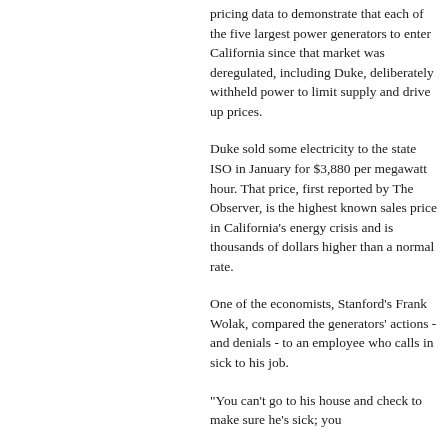pricing data to demonstrate that each of the five largest power generators to enter California since that market was deregulated, including Duke, deliberately withheld power to limit supply and drive up prices.
Duke sold some electricity to the state ISO in January for $3,880 per megawatt hour. That price, first reported by The Observer, is the highest known sales price in California's energy crisis and is thousands of dollars higher than a normal rate.
One of the economists, Stanford's Frank Wolak, compared the generators' actions - and denials - to an employee who calls in sick to his job.
"You can't go to his house and check to make sure he's sick; you